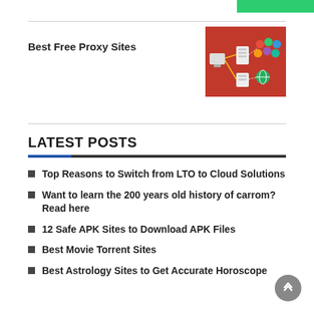[Figure (illustration): Network/proxy diagram on red background showing computer connected through proxy server]
Best Free Proxy Sites
LATEST POSTS
Top Reasons to Switch from LTO to Cloud Solutions
Want to learn the 200 years old history of carrom? Read here
12 Safe APK Sites to Download APK Files
Best Movie Torrent Sites
Best Astrology Sites to Get Accurate Horoscope